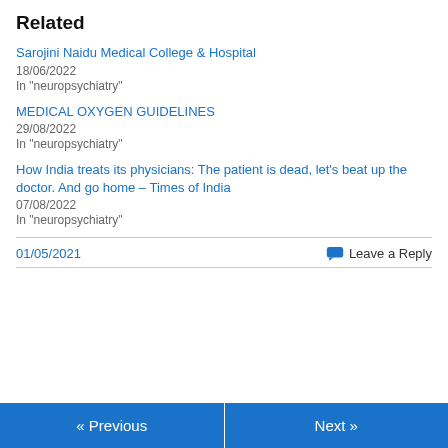Related
Sarojini Naidu Medical College & Hospital
18/06/2022
In "neuropsychiatry"
MEDICAL OXYGEN GUIDELINES
29/08/2022
In "neuropsychiatry"
How India treats its physicians: The patient is dead, let's beat up the doctor. And go home – Times of India
07/08/2022
In "neuropsychiatry"
01/05/2021
Leave a Reply
« Previous
Next »